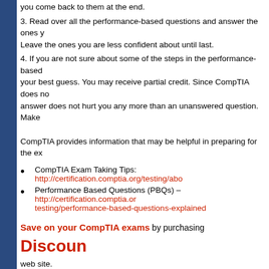you come back to them at the end.
3. Read over all the performance-based questions and answer the ones you are confident about first. Leave the ones you are less confident about until last.
4. If you are not sure about some of the steps in the performance-based questions, take your best guess. You may receive partial credit. Since CompTIA does not penalize for guessing, a wrong answer does not hurt you any more than an unanswered question. Make sure you answer every question.
CompTIA provides information that may be helpful in preparing for the exam:
CompTIA Exam Taking Tips: http://certification.comptia.org/testing/about-testing/exam-taking-tips
Performance Based Questions (PBQs) – http://certification.comptia.org/testing/performance-based-questions-explained
Save on your CompTIA exams by purchasing Discount Exam Vouchers from the Total Seminars web site.
Total Seminars' TotalSims and TotalTester products help you study for your CompTIA exams and make sure you are ready to pass. TotalSims helps you practice performance-based questions and let you do hands-on exercises to reinforce the concepts and techniques covered on the exams. Total Tester provides hundreds (A+ and Net+ have over 1,000) of practice exam questions. You can create custom exams that focus only on objectives you want to study.